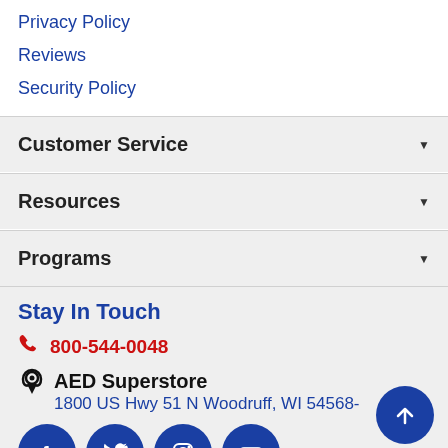Privacy Policy
Reviews
Security Policy
Customer Service
Resources
Programs
Stay In Touch
800-544-0048
AED Superstore
1800 US Hwy 51 N Woodruff, WI 54568-